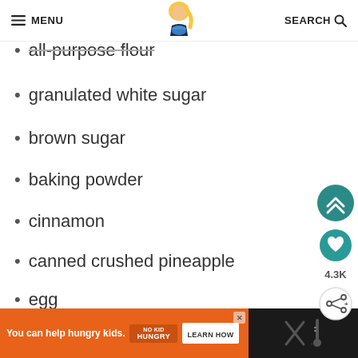MENU | [logo] | SEARCH
all-purpose flour
granulated white sugar
brown sugar
baking powder
cinnamon
canned crushed pineapple
egg
milk
butter
[Figure (screenshot): Advertisement bar: orange section with 'You can help hungry kids. NO KID HUNGRY LEARN HOW' and dark section with icons]
[Figure (illustration): Floating UI buttons: chevron up (teal), heart (teal), 4.3K count, share button]